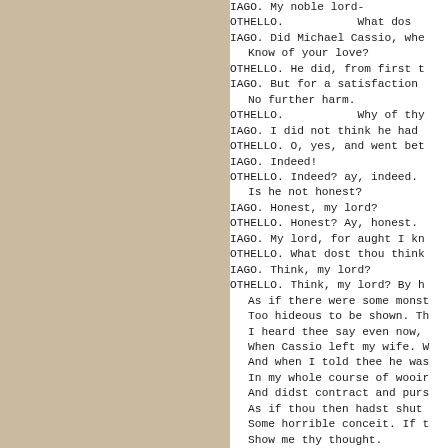[Figure (other): Tan/beige colored left panel background]
IAGO. My noble lord-
OTHELLO.           What dos
IAGO. Did Michael Cassio, whe
   Know of your love?
OTHELLO. He did, from first t
IAGO. But for a satisfaction
   No further harm.
OTHELLO.           Why of thy
IAGO. I did not think he had
OTHELLO. O, yes, and went bet
IAGO. Indeed!
OTHELLO. Indeed? ay, indeed.
   Is he not honest?
IAGO. Honest, my lord?
OTHELLO. Honest? Ay, honest.
IAGO. My lord, for aught I kn
OTHELLO. What dost thou think
IAGO. Think, my lord?
OTHELLO. Think, my lord? By h
   As if there were some monst
   Too hideous to be shown. Th
   I heard thee say even now,
   When Cassio left my wife. W
   And when I told thee he was
   In my whole course of wooir
   And didst contract and purs
   As if thou then hadst shut
   Some horrible conceit. If t
   Show me thy thought.
IAGO. My lord, you know I lov
OTHELLO.
   And for I know thou'rt full
   And weighst thy words befo